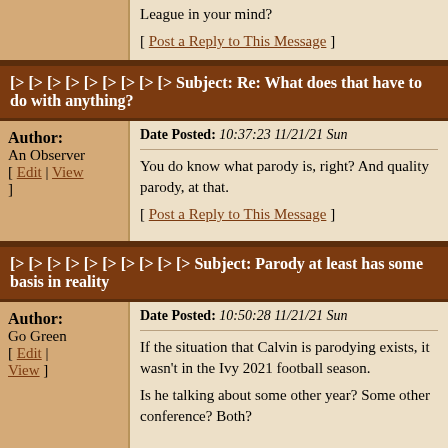League in your mind?
[ Post a Reply to This Message ]
[> [> [> [> [> [> [> [> [> Subject: Re: What does that have to do with anything?
Date Posted: 10:37:23 11/21/21 Sun
Author: An Observer [ Edit | View ]
You do know what parody is, right? And quality parody, at that.
[ Post a Reply to This Message ]
[> [> [> [> [> [> [> [> [> [> Subject: Parody at least has some basis in reality
Date Posted: 10:50:28 11/21/21 Sun
Author: Go Green [ Edit | View ]
If the situation that Calvin is parodying exists, it wasn't in the Ivy 2021 football season.
Is he talking about some other year? Some other conference? Both?